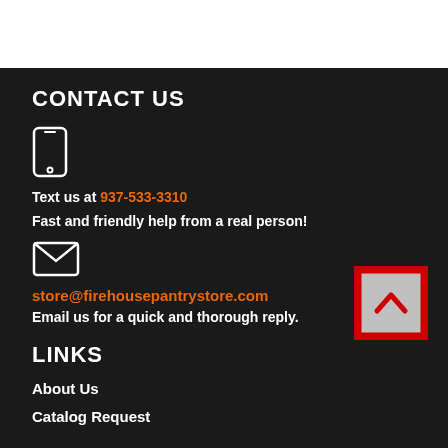CONTACT US
[Figure (illustration): Mobile phone icon (outline, white)]
Text us at 937-533-3310
Fast and friendly help from a real person!
[Figure (illustration): Envelope/email icon (outline, white)]
store@firehousepantrystore.com
Email us for a quick and thorough reply.
[Figure (illustration): Back to top button: grey square with red border and red upward chevron]
LINKS
About Us
Catalog Request